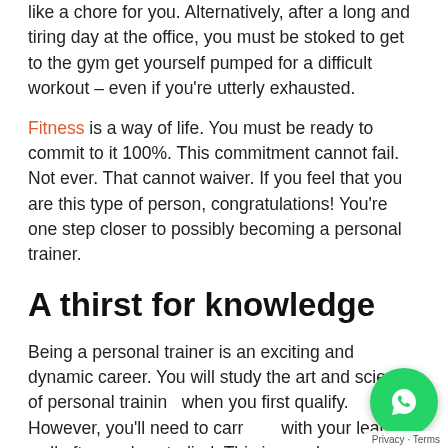like a chore for you. Alternatively, after a long and tiring day at the office, you must be stoked to get to the gym get yourself pumped for a difficult workout – even if you're utterly exhausted.
Fitness is a way of life. You must be ready to commit to it 100%. This commitment cannot fail. Not ever. That cannot waiver. If you feel that you are this type of person, congratulations! You're one step closer to possibly becoming a personal trainer.
A thirst for knowledge
Being a personal trainer is an exciting and dynamic career. You will study the art and science of personal training when you first qualify. However, you'll need to carry on with your learning well after you've studied. This is because there are always new exercise techniques that are